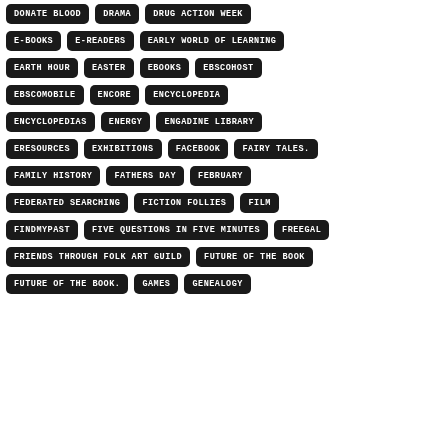DONATE BLOOD
DRAMA
DRUG ACTION WEEK
E-BOOKS
E-READERS
EARLY WORLD OF LEARNING
EARTH HOUR
EASTER
EBOOKS
EBSCOHOST
EBSCOMOBILE
ENCORE
ENCYCLOPEDIA
ENCYCLOPEDIAS
ENERGY
ENGADINE LIBRARY
ERESOURCES
EXHIBITIONS
FACEBOOK
FAIRY TALES.
FAMILY HISTORY
FATHERS DAY
FEBRUARY
FEDERATED SEARCHING
FICTION FOLLIES
FILM
FINDMYPAST
FIVE QUESTIONS IN FIVE MINUTES
FREEGAL
FRIENDS THROUGH FOLK ART GUILD
FUTURE OF THE BOOK
FUTURE OF THE BOOK.
GAMES
GENEALOGY